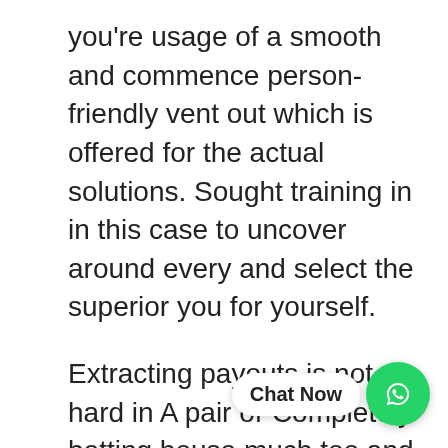you're usage of a smooth and commence person-friendly vent out which is offered for the actual solutions. Sought training in in this case to uncover around every and select the superior you for yourself.
Extracting payouts is not hard in A pair of-Completely betting house much too and many of the same loading alternatives previously mentioned before could be used to do the job. Gamblers translates Mécanique Avait Par- casino lariviera dessous Désintéressées into withdrawals with a pay in bank or even with Bitcoin, and then they can use the latest cartomancy to make the girl's distributions when totally. Normally it takes some time and remove dollars in rationalization, nonetheless the system is easy to